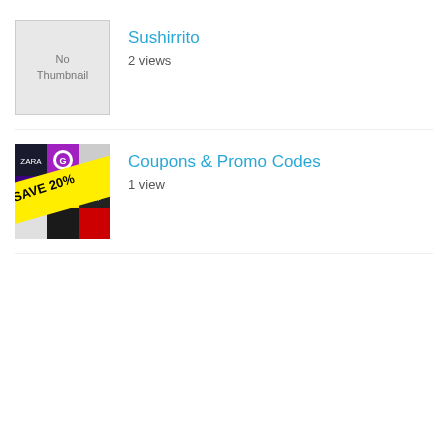[Figure (illustration): No Thumbnail placeholder box]
Sushirrito
2 views
[Figure (illustration): Coupons collage image with SAVE 20% banner]
Coupons & Promo Codes
1 view
[Figure (photo): Regal Unlimited partial thumbnail in orange]
Regal Unlimited Review: Great option for Regal